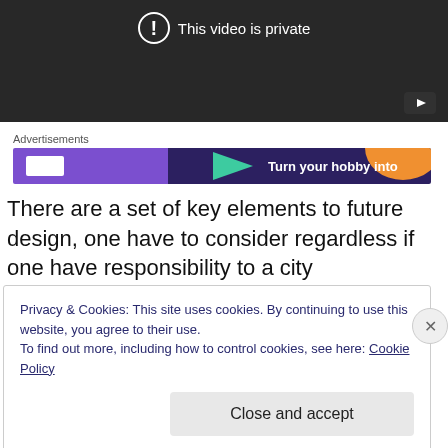[Figure (screenshot): YouTube-style private video embed with dark background, warning icon, 'This video is private' text, and play button in corner]
Advertisements
[Figure (screenshot): Advertisement banner with purple, teal, and orange colors, text 'Turn your hobby into']
There are a set of key elements to future design, one have to consider regardless if one have responsibility to a city
Privacy & Cookies: This site uses cookies. By continuing to use this website, you agree to their use.
To find out more, including how to control cookies, see here: Cookie Policy
Close and accept